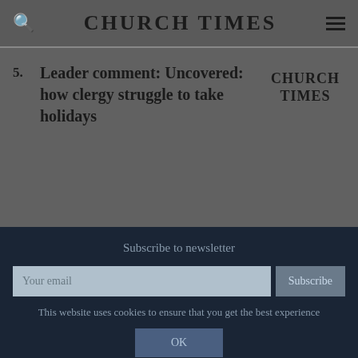CHURCH TIMES
5. Leader comment: Uncovered: how clergy struggle to take holidays
[Figure (logo): Church Times logo in bold serif text]
Subscribe to newsletter
Your email
Subscribe
This website uses cookies to ensure that you get the best experience
OK
View Privacy Policy